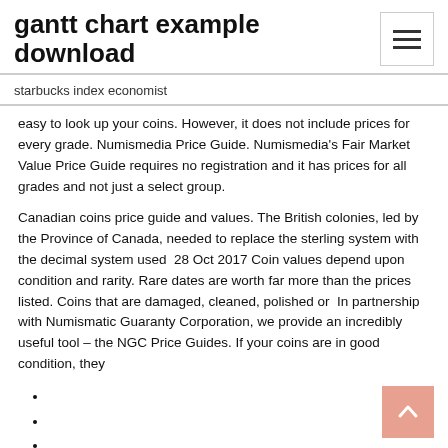gantt chart example download
starbucks index economist
easy to look up your coins. However, it does not include prices for every grade. Numismedia Price Guide. Numismedia's Fair Market Value Price Guide requires no registration and it has prices for all grades and not just a select group.
Canadian coins price guide and values. The British colonies, led by the Province of Canada, needed to replace the sterling system with the decimal system used  28 Oct 2017 Coin values depend upon condition and rarity. Rare dates are worth far more than the prices listed. Coins that are damaged, cleaned, polished or  In partnership with Numismatic Guaranty Corporation, we provide an incredibly useful tool – the NGC Price Guides. If your coins are in good condition, they